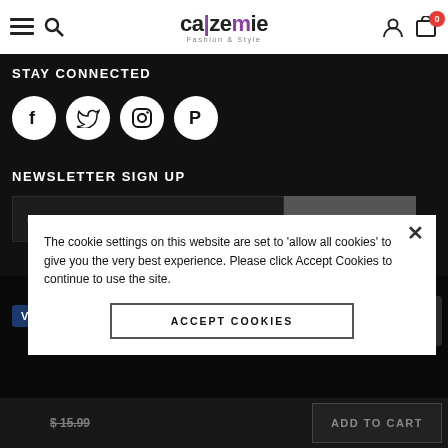calzemie – Fashion & Style navigation header with hamburger menu, search, logo, user icon, and cart (0)
STAY CONNECTED
[Figure (other): Four social media icon circles: Facebook (f), Twitter (bird), Instagram (camera), Pinterest (P)]
NEWSLETTER SIGN UP
enter your email address  [SUBSCRIBE button]
[Figure (other): Payment method icons: VISA, Mastercard, Amex. Scroll-to-top button. Price $15.99 and ADD TO CART bar.]
The cookie settings on this website are set to 'allow all cookies' to give you the very best experience. Please click Accept Cookies to continue to use the site.
ACCEPT COOKIES